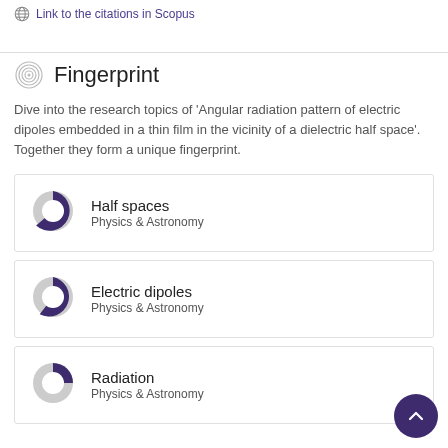Link to the citations in Scopus
Fingerprint
Dive into the research topics of 'Angular radiation pattern of electric dipoles embedded in a thin film in the vicinity of a dielectric half space'. Together they form a unique fingerprint.
[Figure (donut-chart): Donut chart for Half spaces, Physics & Astronomy, approximately 85% filled in dark purple]
Half spaces
Physics & Astronomy
[Figure (donut-chart): Donut chart for Electric dipoles, Physics & Astronomy, approximately 75% filled in dark purple]
Electric dipoles
Physics & Astronomy
[Figure (donut-chart): Donut chart for Radiation, Physics & Astronomy, approximately 45% filled in dark purple]
Radiation
Physics & Astronomy